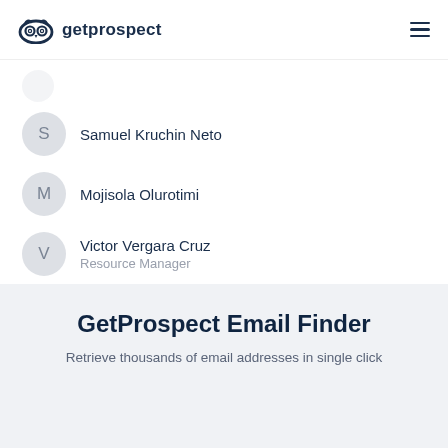getprospect
Samuel Kruchin Neto
Mojisola Olurotimi
Victor Vergara Cruz
Resource Manager
View all employees
GetProspect Email Finder
Retrieve thousands of email addresses in single click